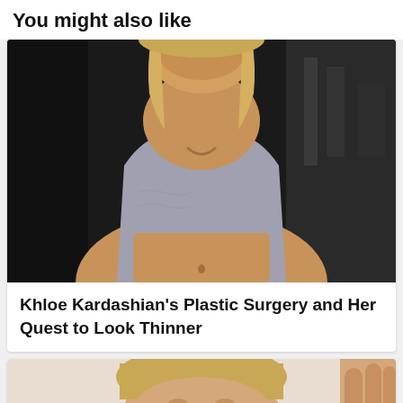You might also like
[Figure (photo): Woman with blonde hair wearing a grey sports bra top, in a gym setting]
Khloe Kardashian's Plastic Surgery and Her Quest to Look Thinner
[Figure (photo): Partial photo of a person's face, cropped at bottom of page]